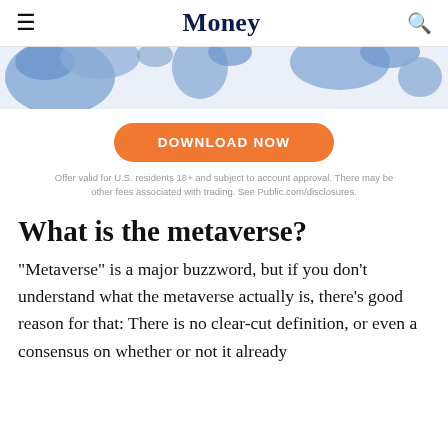Money
[Figure (illustration): Partial view of a world map with blue landmass shapes on a light blue-grey background, cropped at top.]
DOWNLOAD NOW
Offer valid for U.S. residents 18+ and subject to account approval. There may be other fees associated with trading. See Public.com/disclosures.
What is the metaverse?
"Metaverse" is a major buzzword, but if you don't understand what the metaverse actually is, there's good reason for that: There is no clear-cut definition, or even a consensus on whether or not it already